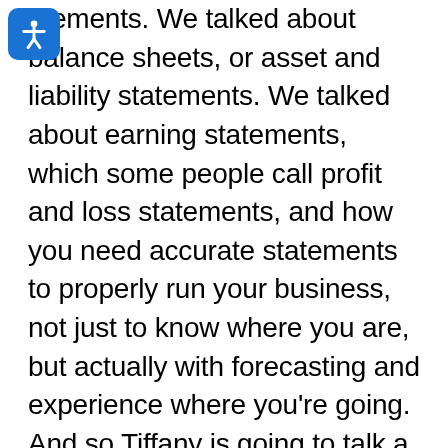atements. We talked about balance sheets, or asset and liability statements. We talked about earning statements, which some people call profit and loss statements, and how you need accurate statements to properly run your business, not just to know where you are, but actually with forecasting and experience where you're going. And so Tiffany is going to talk a little bit about common pitfalls that she sees in her accounting practice. In terms of what you all need to know, after you open your doors, you know there's a lot of planning goes in before and a lot of excitement. But sometimes there are these realities that come along after you kind of get launched, so to speak. So Tiffany, why don't you talk about some of the common pitfalls that you see